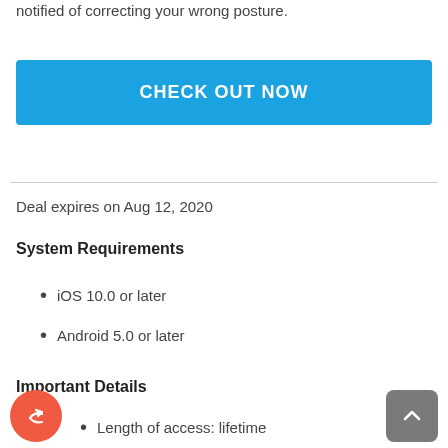notified of correcting your wrong posture.
CHECK OUT NOW
Deal expires on Aug 12, 2020
System Requirements
iOS 10.0 or later
Android 5.0 or later
Important Details
Length of access: lifetime